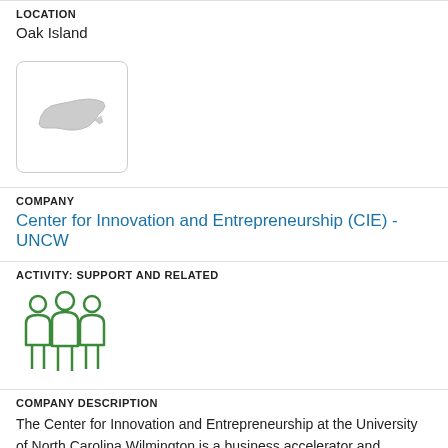LOCATION
Oak Island
[Figure (map): Small map thumbnail showing the outline of North Carolina state, with a location marker shape in the lower left area.]
COMPANY
Center for Innovation and Entrepreneurship (CIE) - UNCW
ACTIVITY: SUPPORT AND RELATED
[Figure (illustration): Green icon showing three human figures (people) standing together, representing a group or organization.]
COMPANY DESCRIPTION
The Center for Innovation and Entrepreneurship at the University of North Carolina Wilmington is a business accelerator and incubator program for the UNCW and the entrepreneurial community...